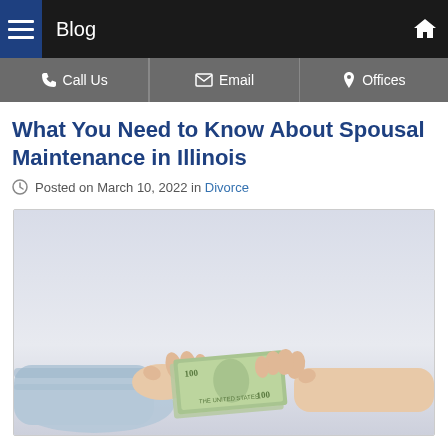Blog
What You Need to Know About Spousal Maintenance in Illinois
Posted on March 10, 2022 in Divorce
[Figure (photo): Two hands exchanging US dollar bills — one hand in a business shirt sleeve, the other hand receiving the money, against a light grey background.]